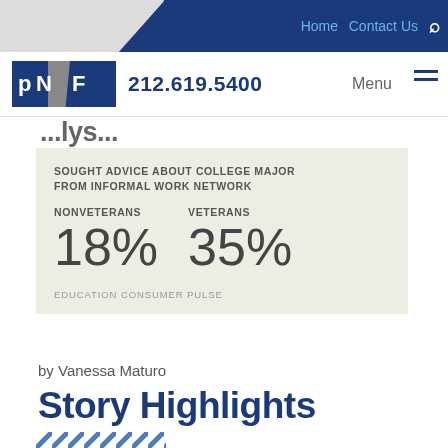Home  Contact Us
[Figure (logo): PNF logo with phone number 212.619.5400 and Menu button]
...lys...
[Figure (infographic): Info box: SOUGHT ADVICE ABOUT COLLEGE MAJOR FROM INFORMAL WORK NETWORK. NONVETERANS 18%  VETERANS 35%. EDUCATION CONSUMER PULSE]
by Vanessa Maturo
Story Highlights